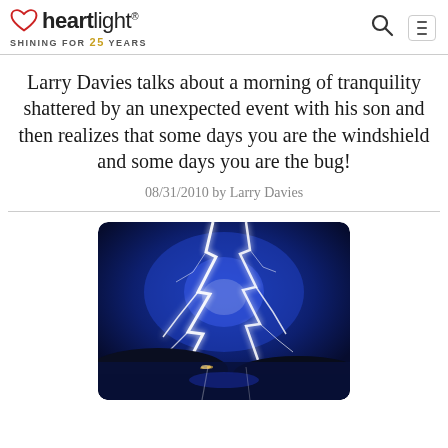heartlight® SHINING FOR 25 YEARS
Larry Davies talks about a morning of tranquility shattered by an unexpected event with his son and then realizes that some days you are the windshield and some days you are the bug!
08/31/2010 by Larry Davies
[Figure (photo): Lightning strike over a lake at night with dark blue sky and reflections on water]